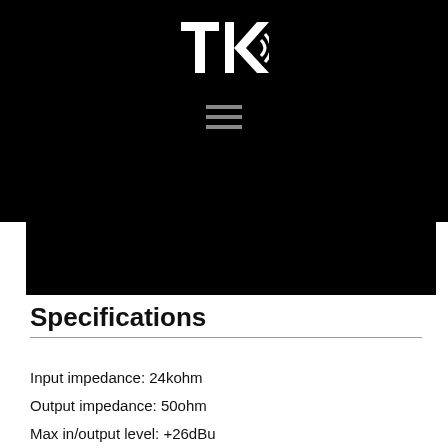[Figure (logo): TK audio logo in white on black background]
Specifications
Input impedance: 24kohm
Output impedance: 50ohm
Max in/output level: +26dBu
Frequency response: 20Hz to 20kHz +/- 0,1dB